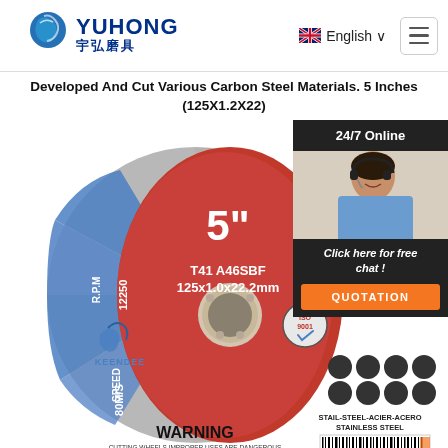YUHONG 宇弘磨具 | English | Menu
Developed And Cut Various Carbon Steel Materials. 5 Inches (125X1.2X22)
[Figure (photo): 5-inch cutting disc/wheel (KEENDEE brand, T41 A46SBF, 125x1.0x22.2mm, RPM 12250, SPEED 80M/S) with red and blue label, barcode 6210906000378, ISO 9001 certification, usage icons, STAIL-STEEL-ACIER-ACERO STAINLESS STEEL notation. Also shows customer service representative with headset (24/7 Online chat) and QUOTATION button.]
24/7 Online
Click here for free chat !
QUOTATION
WARNING
CUTTING WHEELS IMPROPER USES ARE DANGEROUS